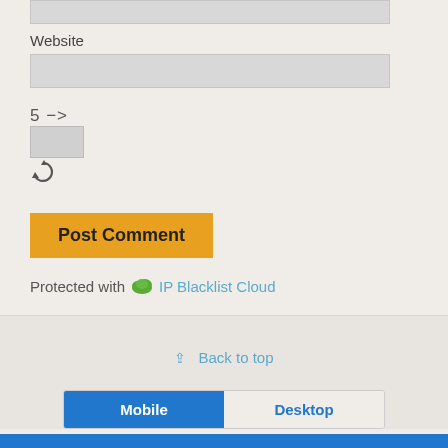Website
5 − one =
Post Comment
Protected with IP Blacklist Cloud
⇪ Back to top
Mobile
Desktop